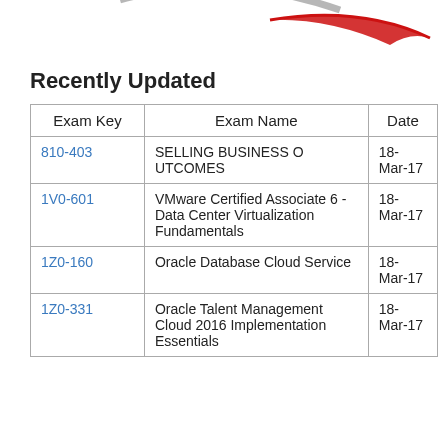[Figure (logo): Certification/exam provider logo at top of page — partial view showing swoosh/arc design in red and grey]
Recently Updated
| Exam Key | Exam Name | Date |
| --- | --- | --- |
| 810-403 | SELLING BUSINESS OUTCOMES | 18-Mar-17 |
| 1V0-601 | VMware Certified Associate 6 - Data Center Virtualization Fundamentals | 18-Mar-17 |
| 1Z0-160 | Oracle Database Cloud Service | 18-Mar-17 |
| 1Z0-331 | Oracle Talent Management Cloud 2016 Implementation Essentials | 18-Mar-17 |